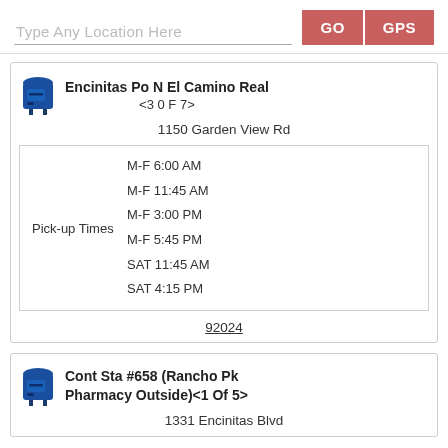Type Any Location Here
GO
GPS
Encinitas Po N El Camino Real <3 0 F 7>
1150 Garden View Rd
| Pick-up Times | Times |
| --- | --- |
| Pick-up Times | M-F 6:00 AM |
|  | M-F 11:45 AM |
|  | M-F 3:00 PM |
|  | M-F 5:45 PM |
|  | SAT 11:45 AM |
|  | SAT 4:15 PM |
92024
Cont Sta #658 (Rancho Pk Pharmacy Outside)<1 Of 5>
1331 Encinitas Blvd